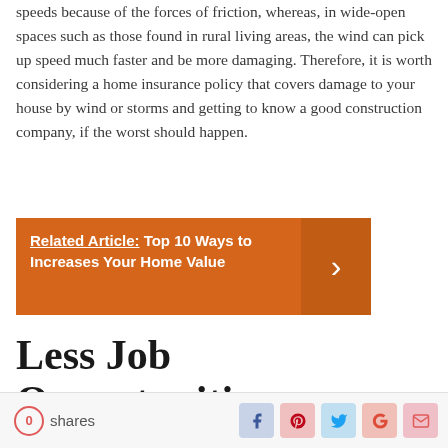speeds because of the forces of friction, whereas, in wide-open spaces such as those found in rural living areas, the wind can pick up speed much faster and be more damaging. Therefore, it is worth considering a home insurance policy that covers damage to your house by wind or storms and getting to know a good construction company, if the worst should happen.
Related Article: Top 10 Ways to Increases Your Home Value
Less Job Opportunities
0 shares